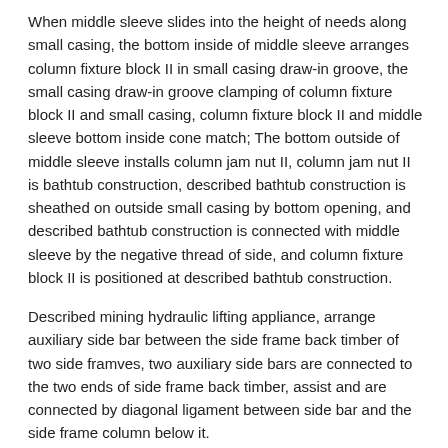When middle sleeve slides into the height of needs along small casing, the bottom inside of middle sleeve arranges column fixture block II in small casing draw-in groove, the small casing draw-in groove clamping of column fixture block II and small casing, column fixture block II and middle sleeve bottom inside cone match; The bottom outside of middle sleeve installs column jam nut II, column jam nut II is bathtub construction, described bathtub construction is sheathed on outside small casing by bottom opening, and described bathtub construction is connected with middle sleeve by the negative thread of side, and column fixture block II is positioned at described bathtub construction.
Described mining hydraulic lifting appliance, arrange auxiliary side bar between the side frame back timber of two side framves, two auxiliary side bars are connected to the two ends of side frame back timber, assist and are connected by diagonal ligament between side bar and the side frame column below it.
Described mining hydraulic lifting appliance, cylinder body assembly pulley is that two anistree pulleys be arranged in